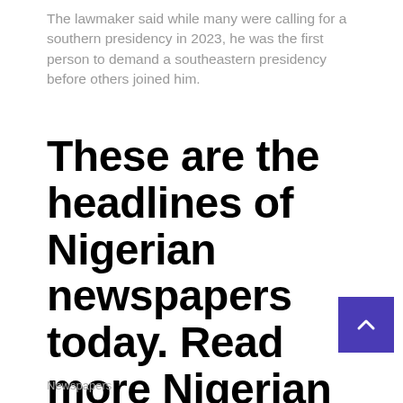The lawmaker said while many were calling for a southern presidency in 2023, he was the first person to demand a southeastern presidency before others joined him.
These are the headlines of Nigerian newspapers today. Read more Nigerian news on Naija News. See you tomorrow.
Newspapers